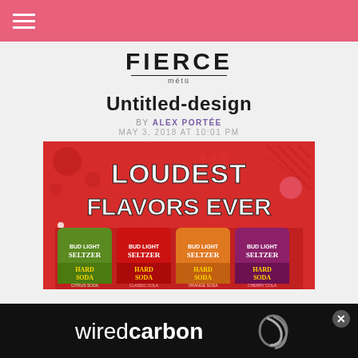FIERCE mété (navigation bar with hamburger menu)
[Figure (logo): FIERCE mété logo with horizontal rule]
Untitled-design
BY ALEX PORTÉE
MAY 3, 2018 AT 10:01 PM
[Figure (photo): Bud Light Seltzer Hard Soda cans advertisement with text 'LOUDEST FLAVORS EVER' on red background. Four can varieties shown: Citrus Soda, Classic Cola, Orange Soda, Cherry Cola.]
[Figure (logo): wiredcarbon advertisement banner with logo on black background and close button]